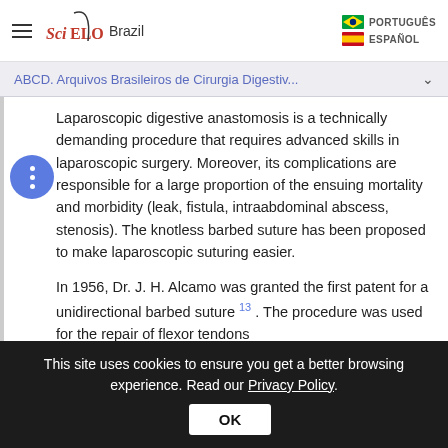SciELO Brazil | PORTUGUÉS | ESPAÑOL
ABCD. Arquivos Brasileiros de Cirurgia Digestiv... ∨
Laparoscopic digestive anastomosis is a technically demanding procedure that requires advanced skills in laparoscopic surgery. Moreover, its complications are responsible for a large proportion of the ensuing mortality and morbidity (leak, fistula, intraabdominal abscess, stenosis). The knotless barbed suture has been proposed to make laparoscopic suturing easier.
In 1956, Dr. J. H. Alcamo was granted the first patent for a unidirectional barbed suture 13 . The procedure was used for the repair of flexor tendons
This site uses cookies to ensure you get a better browsing experience. Read our Privacy Policy.